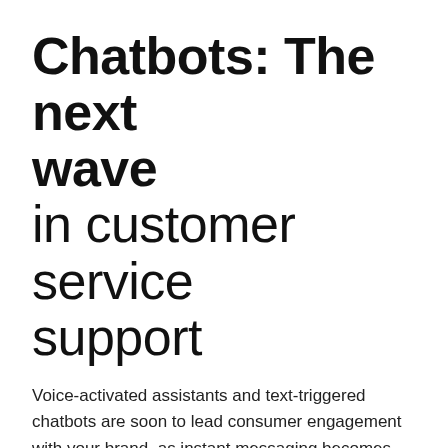Chatbots: The next wave in customer service support
Voice-activated assistants and text-triggered chatbots are soon to lead consumer engagement with your brand, as instant messaging becomes the most efficient way to communicate.
"~90% of our time on mobile is spent on email and messaging apps." Niko Bonatsos.